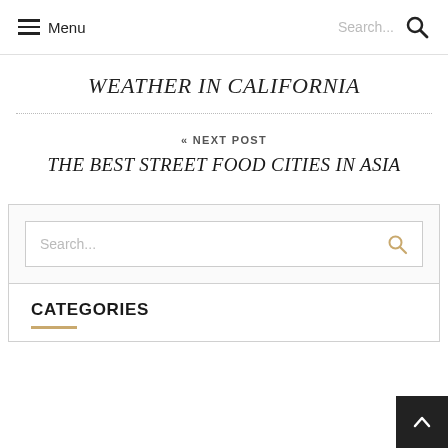Menu  Search...
WEATHER IN CALIFORNIA
« NEXT POST
THE BEST STREET FOOD CITIES IN ASIA
Search...
CATEGORIES